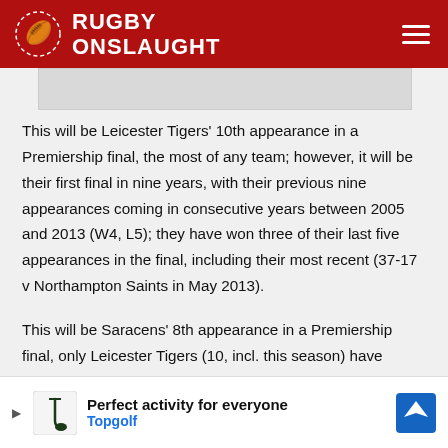RUGBY ONSLAUGHT
[Figure (illustration): Gray image placeholder strip]
This will be Leicester Tigers’ 10th appearance in a Premiership final, the most of any team; however, it will be their first final in nine years, with their previous nine appearances coming in consecutive years between 2005 and 2013 (W4, L5); they have won three of their last five appearances in the final, including their most recent (37-17 v Northampton Saints in May 2013).
This will be Saracens’ 8th appearance in a Premiership final, only Leicester Tigers (10, incl. this season) have reached more; S[...]finals, no othe[...].
[Figure (illustration): Advertisement banner: Perfect activity for everyone - Topgolf]